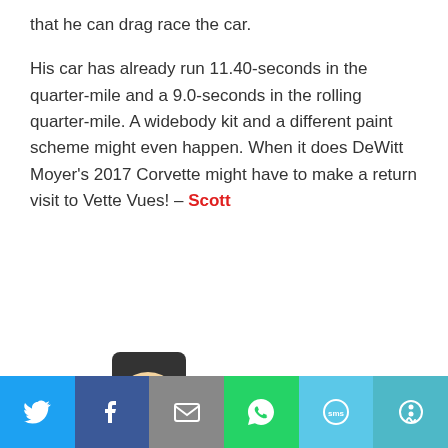that he can drag race the car.
His car has already run 11.40-seconds in the quarter-mile and a 9.0-seconds in the rolling quarter-mile. A widebody kit and a different paint scheme might even happen. When it does DeWitt Moyer’s 2017 Corvette might have to make a return visit to Vette Vues! – Scott
[Figure (illustration): Cartoon character of a man wearing a wide-brim hat, sunglasses, long hair, gray jacket, red shirt, and blue pants, pointing forward while walking.]
[Figure (other): Social media sharing bar with six icons: Twitter (blue), Facebook (dark blue), Email (gray), WhatsApp (green), SMS (light blue), More (teal).]